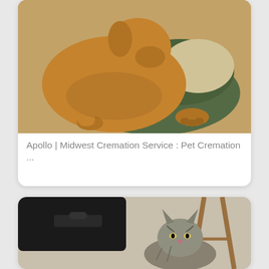[Figure (photo): A tan/golden dog lying on a green and beige blanket or cushion, curled up with paws visible]
Apollo | Midwest Cremation Service : Pet Cremation ...
[Figure (photo): A tabby cat sitting on carpet near a dark suitcase and a wooden easel or stand]